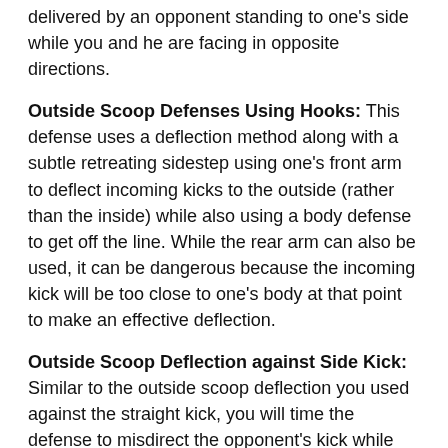delivered by an opponent standing to one's side while you and he are facing in opposite directions.
Outside Scoop Defenses Using Hooks: This defense uses a deflection method along with a subtle retreating sidestep using one's front arm to deflect incoming kicks to the outside (rather than the inside) while also using a body defense to get off the line. While the rear arm can also be used, it can be dangerous because the incoming kick will be too close to one's body at that point to make an effective deflection.
Outside Scoop Deflection against Side Kick: Similar to the outside scoop deflection you used against the straight kick, you will time the defense to misdirect the opponent's kick while delivering a devastating counter blow to his base leg knee.
Outlet Stance